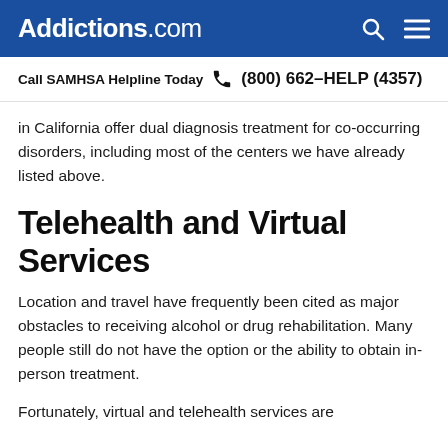Addictions.com
Call SAMHSA Helpline Today  (800) 662-HELP (4357)
in California offer dual diagnosis treatment for co-occurring disorders, including most of the centers we have already listed above.
Telehealth and Virtual Services
Location and travel have frequently been cited as major obstacles to receiving alcohol or drug rehabilitation. Many people still do not have the option or the ability to obtain in-person treatment.
Fortunately, virtual and telehealth services are